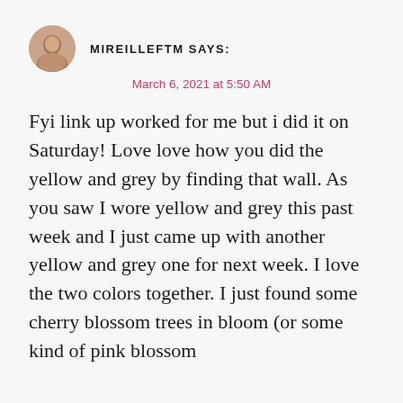[Figure (photo): Circular avatar photo of a person]
MIREILLEFTM SAYS:
March 6, 2021 at 5:50 AM
Fyi link up worked for me but i did it on Saturday! Love love how you did the yellow and grey by finding that wall. As you saw I wore yellow and grey this past week and I just came up with another yellow and grey one for next week. I love the two colors together. I just found some cherry blossom trees in bloom (or some kind of pink blossom